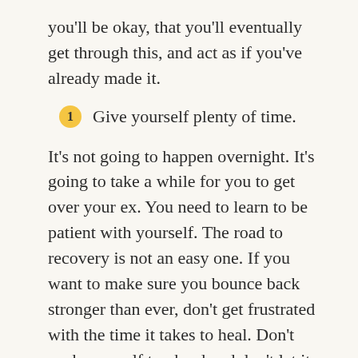you'll be okay, that you'll eventually get through this, and act as if you've already made it.
Give yourself plenty of time.
It's not going to happen overnight. It's going to take a while for you to get over your ex. You need to learn to be patient with yourself. The road to recovery is not an easy one. If you want to make sure you bounce back stronger than ever, don't get frustrated with the time it takes to heal. Don't push yourself too hard and don't let it get to you. Your broken heart will need plenty